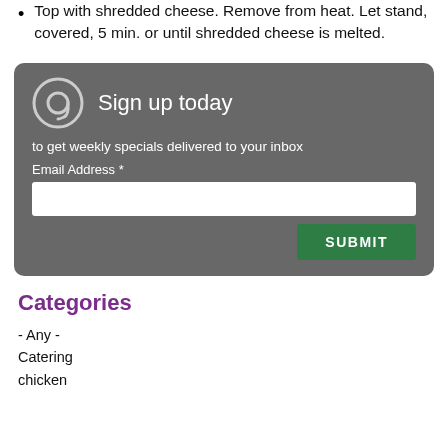Top with shredded cheese. Remove from heat. Let stand, covered, 5 min. or until shredded cheese is melted.
[Figure (infographic): Sign up today email subscription box with @ icon, text input for Email Address, and a green SUBMIT button, on a dark grey rounded background]
Categories
- Any -
Catering
chicken